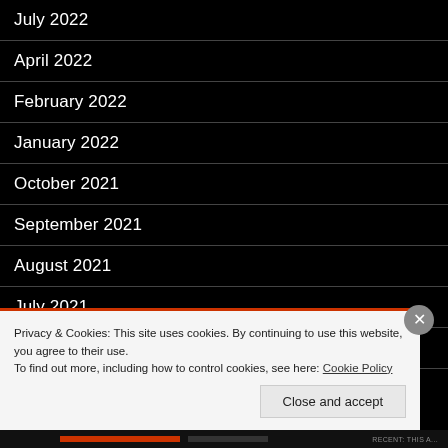July 2022
April 2022
February 2022
January 2022
October 2021
September 2021
August 2021
July 2021
June 2021
Privacy & Cookies: This site uses cookies. By continuing to use this website, you agree to their use.
To find out more, including how to control cookies, see here: Cookie Policy
Close and accept